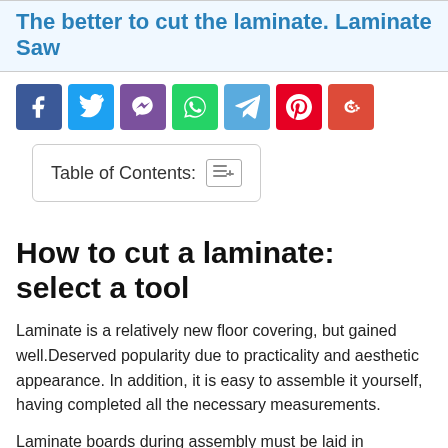The better to cut the laminate. Laminate Saw
[Figure (other): Social sharing icons row: Facebook, Twitter, Viber, WhatsApp, Telegram, Pinterest, Google+]
Table of Contents:
How to cut a laminate: select a tool
Laminate is a relatively new floor covering, but gained well.Deserved popularity due to practicality and aesthetic appearance. In addition, it is easy to assemble it yourself, having completed all the necessary measurements.
Laminate boards during assembly must be laid in